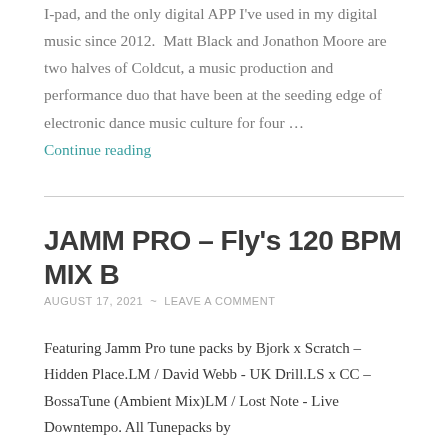I-pad, and the only digital APP I've used in my digital music since 2012.  Matt Black and Jonathon Moore are two halves of Coldcut, a music production and performance duo that have been at the seeding edge of electronic dance music culture for four …
Continue reading
JAMM PRO – Fly's 120 BPM MIX B
AUGUST 17, 2021  ~  LEAVE A COMMENT
Featuring Jamm Pro tune packs by Bjork x Scratch – Hidden Place.LM / David Webb - UK Drill.LS x CC - BossaTune (Ambient Mix)LM / Lost Note - Live Downtempo. All Tunepacks by